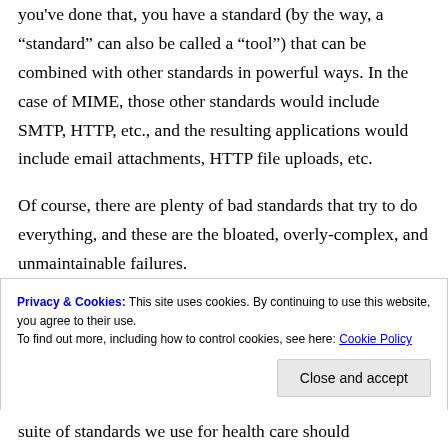you've done that, you have a standard (by the way, a “standard” can also be called a “tool”) that can be combined with other standards in powerful ways. In the case of MIME, those other standards would include SMTP, HTTP, etc., and the resulting applications would include email attachments, HTTP file uploads, etc.
Of course, there are plenty of bad standards that try to do everything, and these are the bloated, overly-complex, and unmaintainable failures.
Privacy & Cookies: This site uses cookies. By continuing to use this website, you agree to their use.
To find out more, including how to control cookies, see here: Cookie Policy
suite of standards we use for health care should